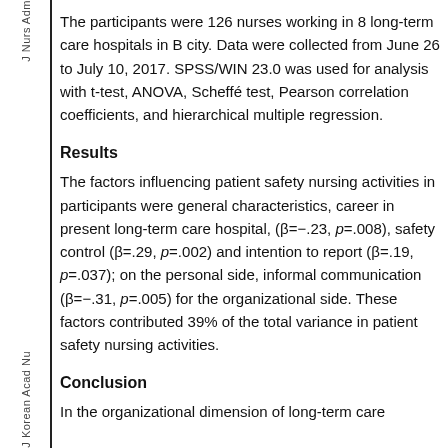J Nurs Adm
The participants were 126 nurses working in 8 long-term care hospitals in B city. Data were collected from June 26 to July 10, 2017. SPSS/WIN 23.0 was used for analysis with t-test, ANOVA, Scheffé test, Pearson correlation coefficients, and hierarchical multiple regression.
Results
The factors influencing patient safety nursing activities in participants were general characteristics, career in present long-term care hospital, (β=−.23, p=.008), safety control (β=.29, p=.002) and intention to report (β=.19, p=.037); on the personal side, informal communication (β=−.31, p=.005) for the organizational side. These factors contributed 39% of the total variance in patient safety nursing activities.
Conclusion
In the organizational dimension of long-term care hospital, formal organizational knowledge should be...